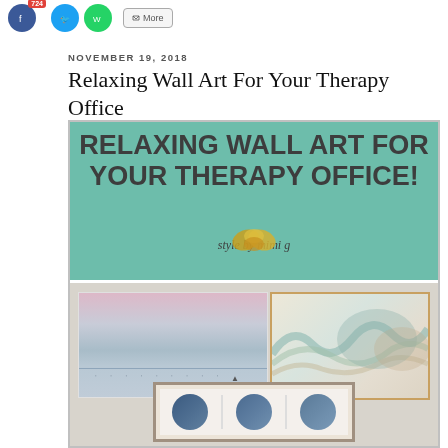[Figure (screenshot): Social media share buttons: Facebook (with 724 badge), Twitter, WhatsApp, and a More button]
NOVEMBER 19, 2018
Relaxing Wall Art For Your Therapy Office
[Figure (illustration): Blog post featured image with teal background showing 'RELAXING WALL ART FOR YOUR THERAPY OFFICE!' in large dark text, 'style by mimi g' byline with gold logo overlay, and a collage of three wall art pieces: a beach scene photo, an abstract wave art print, and a framed triptych of abstract circular art]